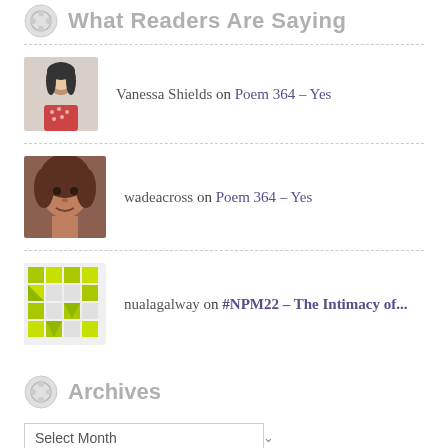What Readers Are Saying
Vanessa Shields on Poem 364 – Yes
wadeacross on Poem 364 – Yes
nualagalway on #NPM22 – The Intimacy of...
Archives
Select Month